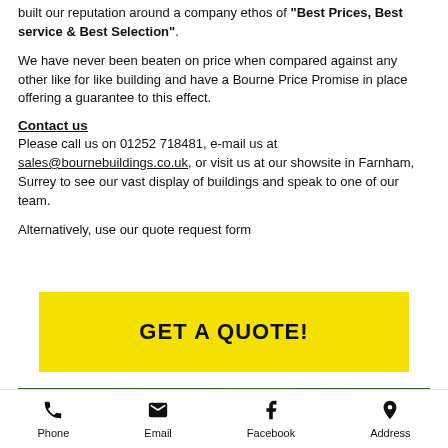built our reputation around a company ethos of "Best Prices, Best service & Best Selection".
We have never been beaten on price when compared against any other like for like building and have a Bourne Price Promise in place offering a guarantee to this effect.
Contact us
Please call us on 01252 718481, e-mail us at sales@bournebuildings.co.uk, or visit us at our showsite in Farnham, Surrey to see our vast display of buildings and speak to one of our team.
Alternatively, use our quote request form
[Figure (other): Yellow button with text GET A QUOTE!]
[Figure (photo): Aerial photo of buildings surrounded by dense green trees]
Phone  Email  Facebook  Address